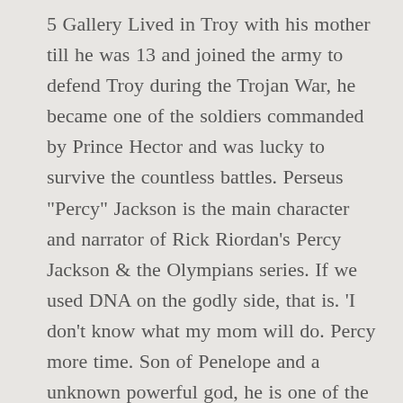5 Gallery Lived in Troy with his mother till he was 13 and joined the army to defend Troy during the Trojan War, he became one of the soldiers commanded by Prince Hector and was lucky to survive the countless battles. Perseus "Percy" Jackson is the main character and narrator of Rick Riordan's Percy Jackson & the Olympians series. If we used DNA on the godly side, that is. 'I don't know what my mom will do. Percy more time. Son of Penelope and a unknown powerful god, he is one of the few survivor's of the Trojan War. Viele neue Camper waren nach Camp Half-Blood gekommen. She was wrong. ** AU where Percy was born a god and the council needs him as the end of the world was predicted his opinion i